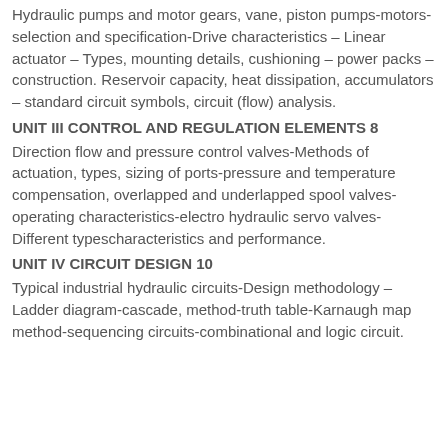Hydraulic pumps and motor gears, vane, piston pumps-motors-selection and specification-Drive characteristics – Linear actuator – Types, mounting details, cushioning – power packs – construction. Reservoir capacity, heat dissipation, accumulators – standard circuit symbols, circuit (flow) analysis.
UNIT III CONTROL AND REGULATION ELEMENTS 8
Direction flow and pressure control valves-Methods of actuation, types, sizing of ports-pressure and temperature compensation, overlapped and underlapped spool valves-operating characteristics-electro hydraulic servo valves-Different typescharacteristics and performance.
UNIT IV CIRCUIT DESIGN 10
Typical industrial hydraulic circuits-Design methodology – Ladder diagram-cascade, method-truth table-Karnaugh map method-sequencing circuits-combinational and logic circuit.